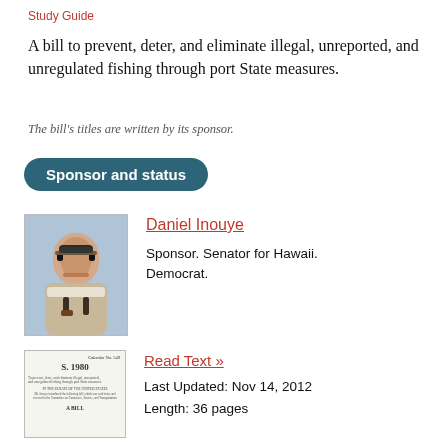Study Guide
A bill to prevent, deter, and eliminate illegal, unreported, and unregulated fishing through port State measures.
The bill's titles are written by its sponsor.
Sponsor and status
[Figure (photo): Portrait photograph of Daniel Inouye]
Daniel Inouye
Sponsor. Senator for Hawaii. Democrat.
[Figure (photo): Thumbnail image of bill document S. 1980, Calendar No. 549]
Read Text »
Last Updated: Nov 14, 2012
Length: 36 pages